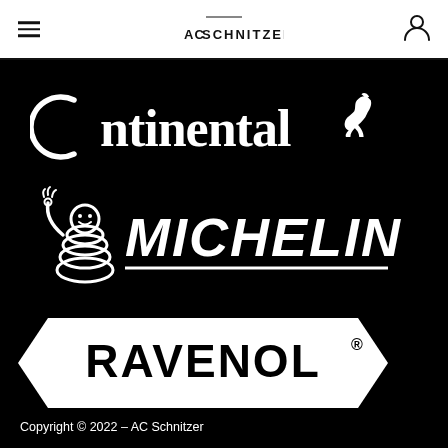[Figure (logo): AC Schnitzer logo in header navigation bar with hamburger menu icon on left and user/account icon on right]
[Figure (logo): Continental tire brand logo in white on black background, with horse icon]
[Figure (logo): Michelin tire brand logo in white on black background, with Bibendum mascot]
[Figure (logo): Ravenol motor oil brand logo in white on black background, banner/ribbon style]
Copyright © 2022 – AC Schnitzer